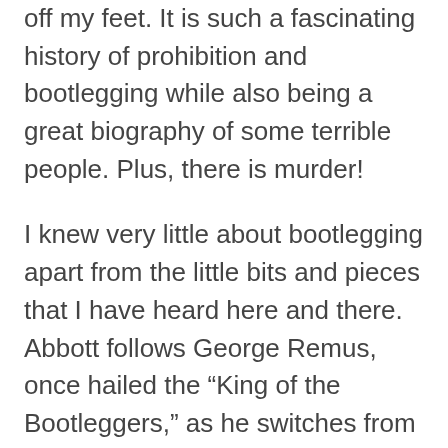off my feet. It is such a fascinating history of prohibition and bootlegging while also being a great biography of some terrible people. Plus, there is murder!
I knew very little about bootlegging apart from the little bits and pieces that I have heard here and there. Abbott follows George Remus, once hailed the “King of the Bootleggers,” as he switches from his life as a lawyer in Chicago to become a bootlegger in Cincinnati.  Abbott uses Remus as a point in which to tell the story of bootlegging in general as well as the history of the U.S.